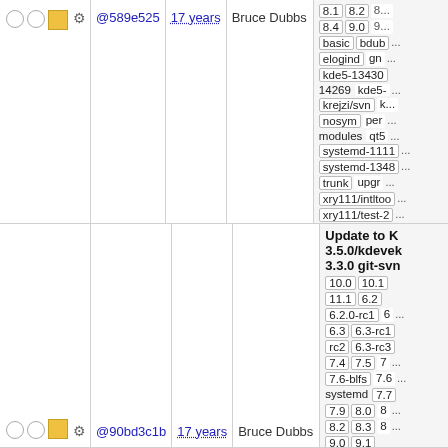| controls | hash | age | author | branches/tags |
| --- | --- | --- | --- | --- |
| ○ ○ □ ⚙ | @589e525 | 17 years | Bruce Dubbs | 8.1 8.2 8.4 9.0 basic bdub elogind gn kde5-13430 14269 kde5- krejzi/svn k nosym per modules qt5 systemd-1111 systemd-1348 trunk upgr xry111/intltoo xry111/test-2 |
| ○ ○ □ ⚙ | @90bd3c1b | 17 years | Bruce Dubbs | Update to K 3.5.0/kdevek 3.3.0 git-svn 10.0 10.1 11.1 6.2 6.2.0-rc1 6 6.3 6.3-rc1 rc2 6.3-rc3 7.4 7.5 7 7.6-blfs 7.6 systemd 7.7 7.9 8.0 8 8.2 8.3 8 9.0 9.1 bdubbs/svn |